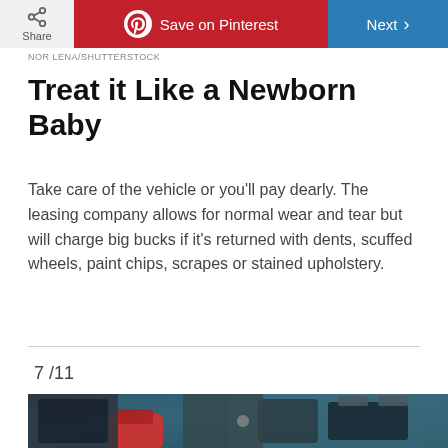Share | Save on Pinterest | Next
NOR LENA/SHUTTERSTOCK
Treat it Like a Newborn Baby
Take care of the vehicle or you'll pay dearly. The leasing company allows for normal wear and tear but will charge big bucks if it's returned with dents, scuffed wheels, paint chips, scrapes or stained upholstery.
7 /11
[Figure (photo): Close-up photo of a car engine compartment showing battery terminals with a red component visible]